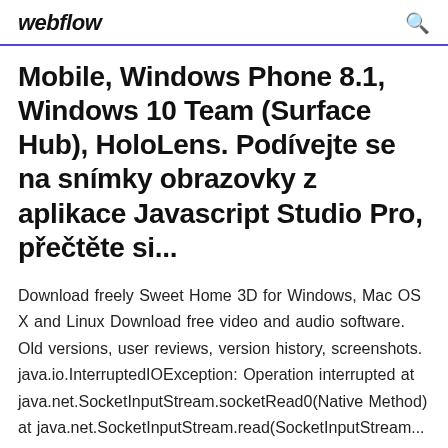webflow
Mobile, Windows Phone 8.1, Windows 10 Team (Surface Hub), HoloLens. Podívejte se na snímky obrazovky z aplikace Javascript Studio Pro, přečtěte si...
Download freely Sweet Home 3D for Windows, Mac OS X and Linux Download free video and audio software. Old versions, user reviews, version history, screenshots. java.io.InterruptedIOException: Operation interrupted at java.net.SocketInputStream.socketRead0(Native Method) at java.net.SocketInputStream.read(SocketInputStream...